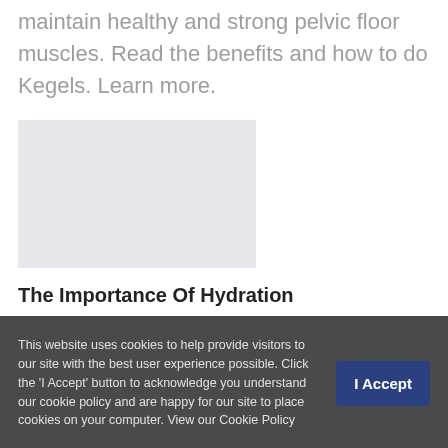maintain healthy and strong pelvic floor muscles. Read the benefits and how to do Kegels. Learn more.
[Figure (photo): Image placeholder - light gray rectangle]
The Importance Of Hydration
Poor nutrition and hydration can sometimes make
This website uses cookies to help provide visitors to our site with the best user experience possible. Click the 'I Accept' button to acknowledge you understand our cookie policy and are happy for our site to place cookies on your computer. View our Cookie Policy